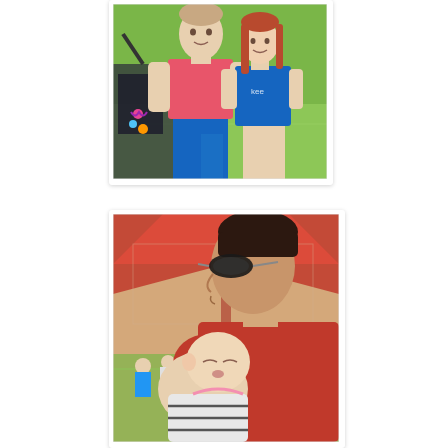[Figure (photo): A man in a pink shirt and blue shorts standing with a young girl wearing a blue soccer jersey on a grass field. There is a stroller partially visible on the left.]
[Figure (photo): A man wearing sunglasses and a red shirt holding a sleeping baby at what appears to be an outdoor sports event. A large tent and a sports field with people are visible in the background.]